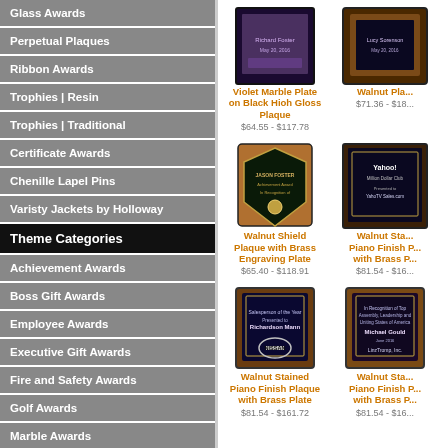Glass Awards
Perpetual Plaques
Ribbon Awards
Trophies | Resin
Trophies | Traditional
Certificate Awards
Chenille Lapel Pins
Varisty Jackets by Holloway
Theme Categories
Achievement Awards
Boss Gift Awards
Employee Awards
Executive Gift Awards
Fire and Safety Awards
Golf Awards
Marble Awards
[Figure (photo): Violet Marble Plate on Black High Gloss Plaque]
Violet Marble Plate on Black Hioh Gloss Plaque
$64.55 - $117.78
[Figure (photo): Walnut Plaque]
Walnut Pla...
$71.36 - $18...
[Figure (photo): Walnut Shield Plaque with Brass Engraving Plate]
Walnut Shield Plaque with Brass Engraving Plate
$65.40 - $118.91
[Figure (photo): Walnut Stained Piano Finish Plaque with Brass Plate (Yahoo)]
Walnut Sta... Piano Finish P... with Brass P...
$81.54 - $16...
[Figure (photo): Walnut Stained Piano Finish Plaque with Brass Plate (Nissan)]
Walnut Stained Piano Finish Plaque with Brass Plate
$81.54 - $161.72
[Figure (photo): Walnut Stained Piano Finish Plaque with Brass Plate (right bottom)]
Walnut Sta... Piano Finish P... with Brass P...
$81.54 - $16...